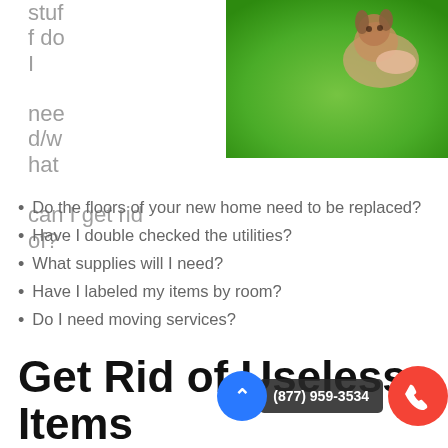[Figure (photo): Photo of a person holding a dog outdoors on green grass, partially cropped at top right of page]
stuff do I need/what can I get rid of?
Do the floors of your new home need to be replaced?
Have I double checked the utilities?
What supplies will I need?
Have I labeled my items by room?
Do I need moving services?
Get Rid of Useless Items